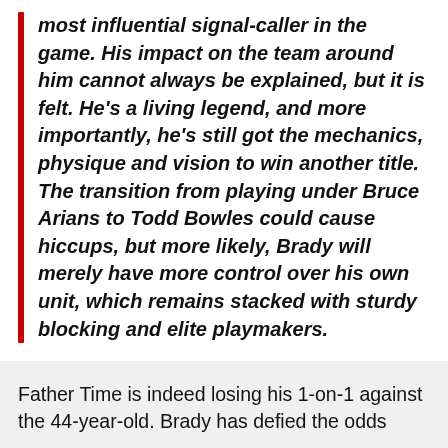most influential signal-caller in the game. His impact on the team around him cannot always be explained, but it is felt. He’s a living legend, and more importantly, he’s still got the mechanics, physique and vision to win another title. The transition from playing under Bruce Arians to Todd Bowles could cause hiccups, but more likely, Brady will merely have more control over his own unit, which remains stacked with sturdy blocking and elite playmakers.
Father Time is indeed losing his 1-on-1 against the 44-year-old. Brady has defied the odds